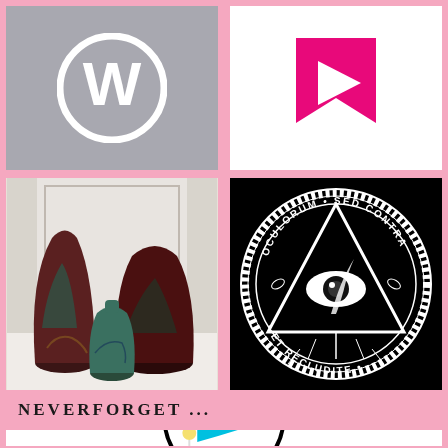[Figure (logo): WordPress logo - white circular W mark on gray background]
[Figure (logo): Pink bookmark/ribbon shaped logo on white background]
[Figure (photo): Three ceramic raku-fired vases in dark red/teal/gold colors on white marble surface]
[Figure (logo): Black circular seal with illuminati eye-in-triangle, text reading OCULORUM SED CONTRA ET RECLUDITE on white background]
NEVERFORGET ...
[Figure (logo): Circular logo with map pin/location marker and blue wavy flag/banner, black border circle on white background]